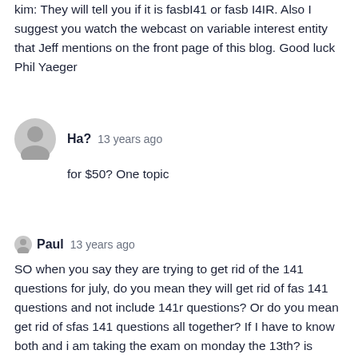kim: They will tell you if it is fasbI41 or fasb I4IR. Also I suggest you watch the webcast on variable interest entity that Jeff mentions on the front page of this blog. Good luck Phil Yaeger
Ha? 13 years ago
for $50? One topic
Paul 13 years ago
SO when you say they are trying to get rid of the 141 questions for july, do you mean they will get rid of fas 141 questions and not include 141r questions? Or do you mean get rid of sfas 141 questions all together? If I have to know both and i am taking the exam on monday the 13th? is there anyway I can get the 50 course and take it online? or is the flash drive the only acceptable way of obtaining